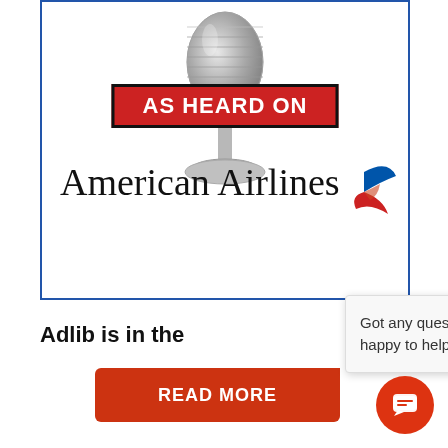[Figure (illustration): American Airlines 'As Heard On' banner with a silver microphone graphic, a red rectangle badge reading 'AS HEARD ON', the text 'American Airlines' in serif font, and the American Airlines bird logo in red and blue.]
Adlib is in the
READ MORE
Got any questions? I'm happy to help.